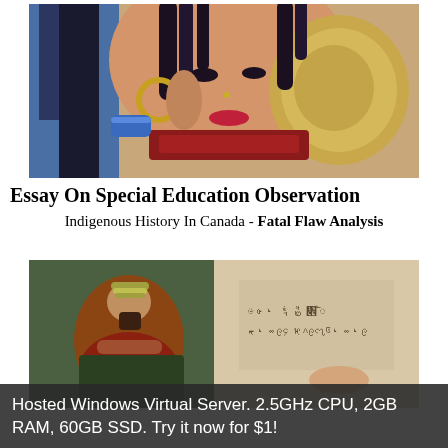[Figure (illustration): Illustration of an ancient Egyptian or Middle Eastern woman with braided hair, large hoop earrings, ornate jewelry and bracelets, holding a golden mirror up to her face.]
Essay On Special Education Observation
Indigenous History In Canada - Fatal Flaw Analysis
[Figure (illustration): Illustration of a bearded ancient king or scribe seated on a throne in a stone room, with cuneiform or ancient script carved on a stone tablet on the wall, and a hand pointing at the text.]
Hosted Windows Virtual Server. 2.5GHz CPU, 2GB RAM, 60GB SSD. Try it now for $1!